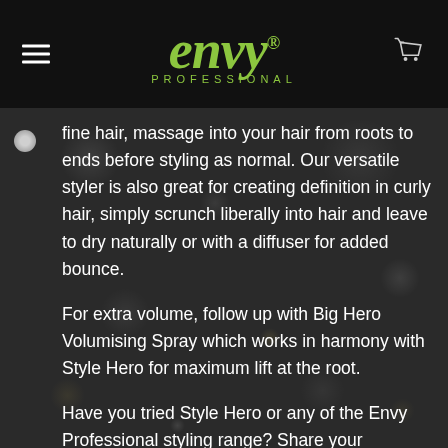envy PROFESSIONAL
fine hair, massage into your hair from roots to ends before styling as normal. Our versatile styler is also great for creating definition in curly hair, simply scrunch liberally into hair and leave to dry naturally or with a diffuser for added bounce.
For extra volume, follow up with Big Hero Volumising Spray which works in harmony with Style Hero for maximum lift at the root.
Have you tried Style Hero or any of the Envy Professional styling range? Share your thoughts in the comments section below and please follow us on Instagram EnvyProHair Facebook Envy Professional and Twitter @EnvyProHair